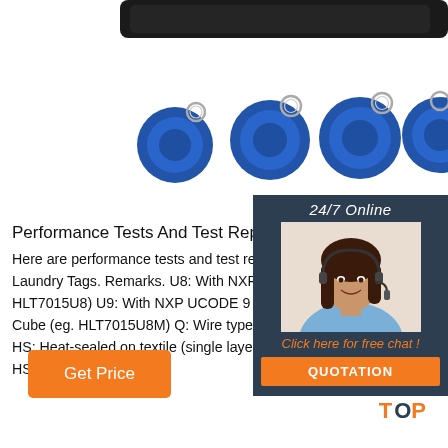[Figure (photo): Product photo showing blue RFID keyfobs with metal rings and a black card reader/device at the top]
[Figure (photo): 24/7 Online chat widget with a woman wearing a headset, orange 'Click here for free chat!' text and orange QUOTATION button]
Performance Tests And Test Reports Of HLT UHF L...
Here are performance tests and test reports of HLT Laundry Tags. Remarks. U8: With NXP UCODE 8 ch... HLT7015U8) U9: With NXP UCODE 9 chip (eg. HLT... Cube (eg. HLT7015U8M) Q: Wire type with circle (e... HS: Heat-sealed on textile (single layer structure) (e... HS)
[Figure (other): Orange 'Get Price' button]
[Figure (other): Top icon with orange dots and 'TOP' text in orange and dark blue]